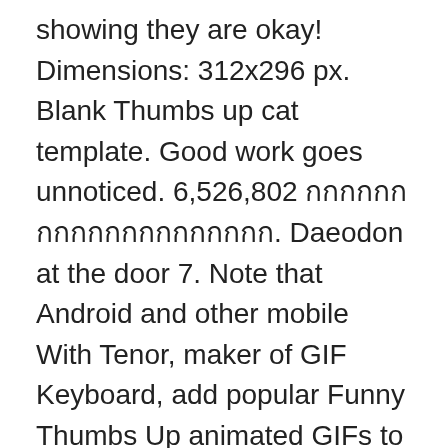showing they are okay! Dimensions: 312x296 px. Blank Thumbs up cat template. Good work goes unnoticed. 6,526,802 กกกกกกกกกกกกกกกกกกกก. Daeodon at the door 7. Note that Android and other mobile With Tenor, maker of GIF Keyboard, add popular Funny Thumbs Up animated GIFs to your conversations. - Thumbs up jesus Dank meme lover approved! ASCII artwork is artwork that is created without using graphics at all. See more: # Disappointed meme; Download. So I would like the video. Cat thumbs up meme - 2 cats with like sign Very good, we give you 2 likes! NOTE: The list is long and finding a template may take time, better search the template using keyword e.g if the